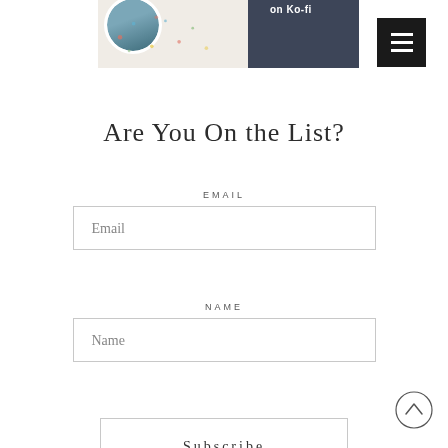[Figure (screenshot): Ko-fi banner with circular avatar image showing a coastal scene, decorative dots on light background, dark navy section with 'on Ko-fi' text, and a black hamburger menu button in the top right]
Are You On the List?
EMAIL
Email
NAME
Name
Subscribe